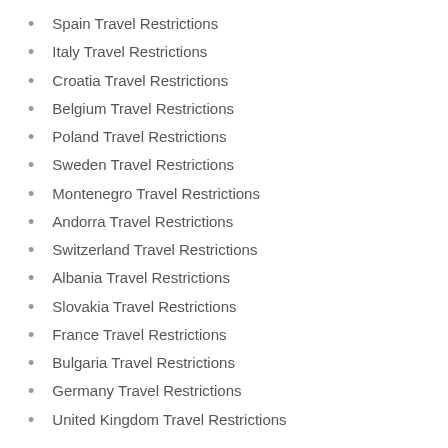Spain Travel Restrictions
Italy Travel Restrictions
Croatia Travel Restrictions
Belgium Travel Restrictions
Poland Travel Restrictions
Sweden Travel Restrictions
Montenegro Travel Restrictions
Andorra Travel Restrictions
Switzerland Travel Restrictions
Albania Travel Restrictions
Slovakia Travel Restrictions
France Travel Restrictions
Bulgaria Travel Restrictions
Germany Travel Restrictions
United Kingdom Travel Restrictions